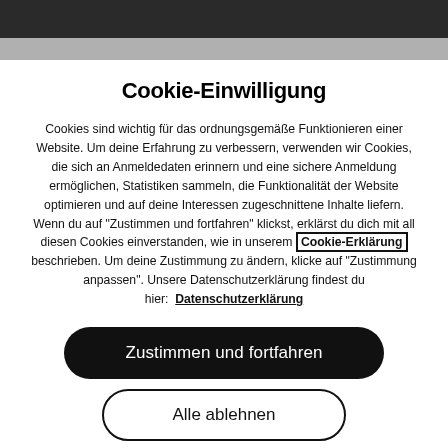Cookie-Einwilligung
Cookies sind wichtig für das ordnungsgemäße Funktionieren einer Website. Um deine Erfahrung zu verbessern, verwenden wir Cookies, die sich an Anmeldedaten erinnern und eine sichere Anmeldung ermöglichen, Statistiken sammeln, die Funktionalität der Website optimieren und auf deine Interessen zugeschnittene Inhalte liefern. Wenn du auf "Zustimmen und fortfahren" klickst, erklärst du dich mit all diesen Cookies einverstanden, wie in unserem Cookie-Erklärung beschrieben. Um deine Zustimmung zu ändern, klicke auf "Zustimmung anpassen". Unsere Datenschutzerklärung findest du hier: Datenschutzerklärung
Zustimmen und fortfahren
Alle ablehnen